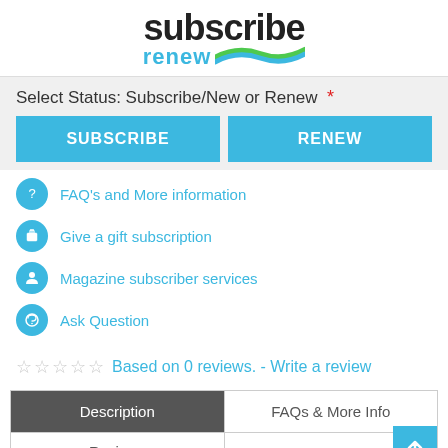[Figure (logo): Subscribe Renew logo with black bold 'subscribe' text and blue 'renew' text with green and blue swoosh graphic]
Select Status: Subscribe/New or Renew *
SUBSCRIBE
RENEW
FAQ's and More information
Give a gift subscription
Magazine subscriber services
Ask Question
☆☆☆☆☆  Based on 0 reviews. - Write a review
| Description | FAQs & More Info |
| --- | --- |
| Reviews |  |